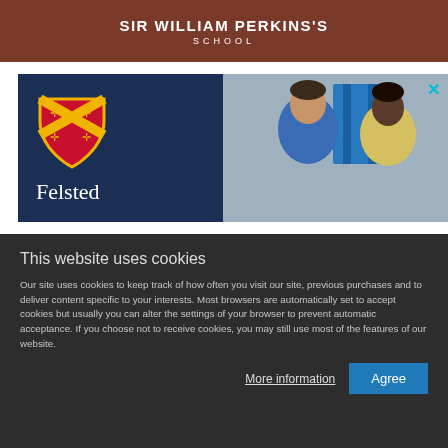[Figure (photo): Sir William Perkins's School banner with dark reddish-brown background and white text]
[Figure (logo): Felsted school advertisement with dark navy left panel showing shield crest and Felsted name, right panel showing two students smiling on a sofa]
This website uses cookies
Our site uses cookies to keep track of how often you visit our site, previous purchases and to deliver content specific to your interests. Most browsers are automatically set to accept cookies but usually you can alter the settings of your browser to prevent automatic acceptance. If you choose not to receive cookies, you may still use most of the features of our website.
More information   Agree